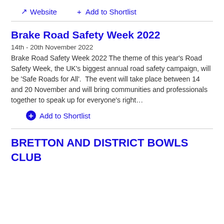Website   Add to Shortlist
Brake Road Safety Week 2022
14th - 20th November 2022
Brake Road Safety Week 2022 The theme of this year's Road Safety Week, the UK's biggest annual road safety campaign, will be 'Safe Roads for All'.  The event will take place between 14 and 20 November and will bring communities and professionals together to speak up for everyone's right…
Add to Shortlist
BRETTON AND DISTRICT BOWLS CLUB